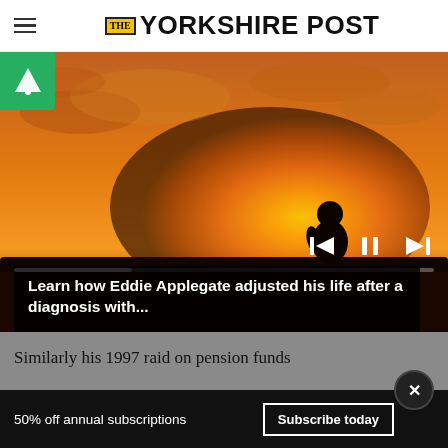THE YORKSHIRE POST
[Figure (photo): Media player showing a silhouette of a person sitting in a field at sunset with orange/golden sky. Playback controls (skip back, pause, skip forward) and a progress bar are visible. An ad badge (green triangle logo) appears in the top-left corner.]
Learn how Eddie Applegate adjusted his life after a diagnosis with...
Similarly his 1997 raid on pension funds
50% off annual subscriptions
Subscribe today